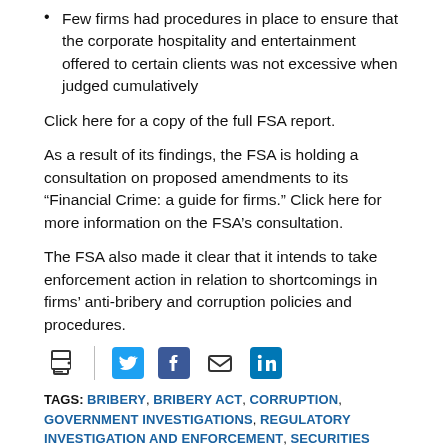Few firms had procedures in place to ensure that the corporate hospitality and entertainment offered to certain clients was not excessive when judged cumulatively
Click here for a copy of the full FSA report.
As a result of its findings, the FSA is holding a consultation on proposed amendments to its “Financial Crime: a guide for firms.” Click here for more information on the FSA’s consultation.
The FSA also made it clear that it intends to take enforcement action in relation to shortcomings in firms’ anti-bribery and corruption policies and procedures.
[Figure (infographic): Social sharing icons: print, divider, Twitter, Facebook, email, LinkedIn]
TAGS: BRIBERY, BRIBERY ACT, CORRUPTION, GOVERNMENT INVESTIGATIONS, REGULATORY INVESTIGATION AND ENFORCEMENT, SECURITIES LITIGATION